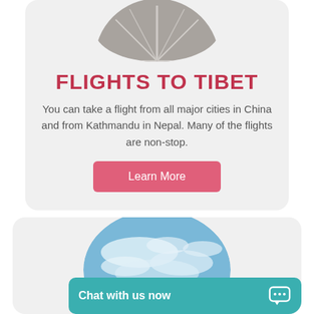[Figure (photo): Circular cropped aerial photo of a runway/airstrip from above, gray tones]
FLIGHTS TO TIBET
You can take a flight from all major cities in China and from Kathmandu in Nepal. Many of the flights are non-stop.
Learn More
[Figure (photo): Circular cropped photo of blue sky with wispy clouds]
Chat with us now